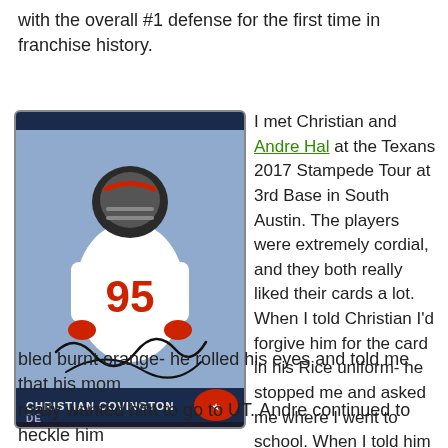with the overall #1 defense for the first time in franchise history.
[Figure (photo): Football trading card of Christian Covington, DE, Houston Texans, wearing jersey #95, with an autograph. Card label reads 'CHRISTIAN COVINGTON DE' with Texans logo.]
I met Christian and Andre Hal at the Texans 2017 Stampede Tour at 3rd Base in South Austin. The players were extremely cordial, and they both really liked their cards a lot. When I told Christian I'd forgive him for the card in his Rice uniform- he stopped me and asked me where I went to school. When I told him I grew up here in Austin so I naturally bled burnt orange- he rolled his eyes and told me that his mom really wanted him to go to UT. Andre continued to heckle him